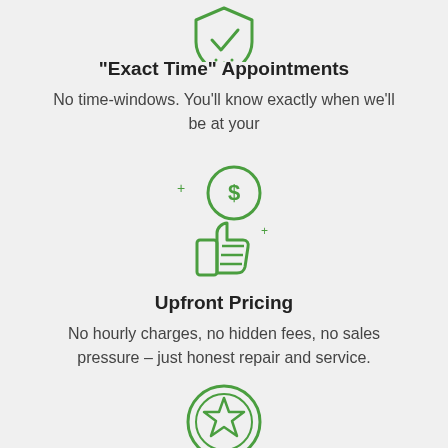[Figure (illustration): Green outline icon of a shield with a checkmark and clock, partially visible at top]
“Exact Time” Appointments
No time-windows. You’ll know exactly when we’ll be at your
[Figure (illustration): Green outline icon of a thumbs up holding a dollar coin with sparkle marks]
Upfront Pricing
No hourly charges, no hidden fees, no sales pressure – just honest repair and service.
[Figure (illustration): Green outline icon of a badge/medal with a star, partially visible at bottom]